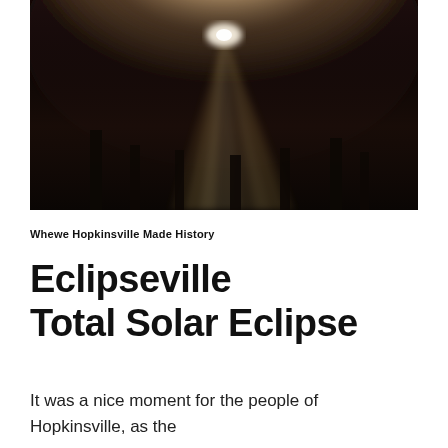[Figure (photo): Dark atmospheric photo of a solar eclipse with bright light rays streaming through dark sky and silhouetted trees]
Whewe Hopkinsville Made History
Eclipseville Total Solar Eclipse
It was a nice moment for the people of Hopkinsville, as the